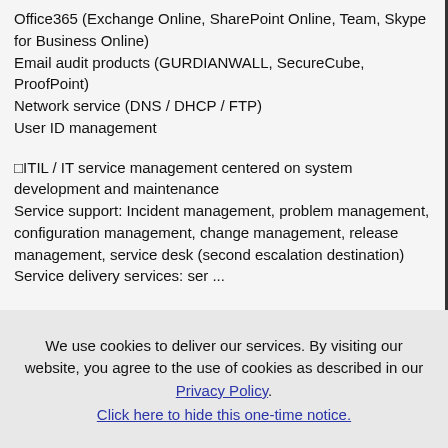Office365 (Exchange Online, SharePoint Online, Team, Skype for Business Online)
Email audit products (GURDIANWALL, SecureCube, ProofPoint)
Network service (DNS / DHCP / FTP)
User ID management
□ITIL / IT service management centered on system development and maintenance
Service support: Incident management, problem management, configuration management, change management, release management, service desk (second escalation destination)
Service delivery services: ser ...
We use cookies to deliver our services. By visiting our website, you agree to the use of cookies as described in our Privacy Policy. Click here to hide this one-time notice.